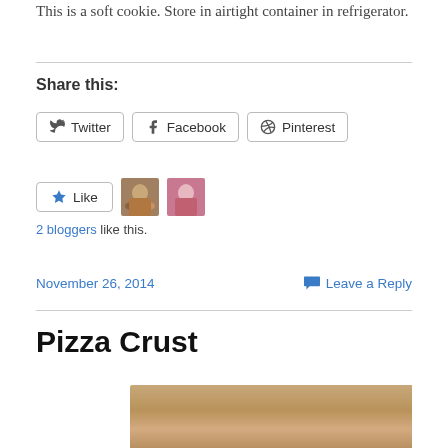This is a soft cookie. Store in airtight container in refrigerator.
Share this:
Twitter Facebook Pinterest
Like  2 bloggers like this.
November 26, 2014   Leave a Reply
Pizza Crust
[Figure (photo): Photo of pizza crust, golden brown baked dough]